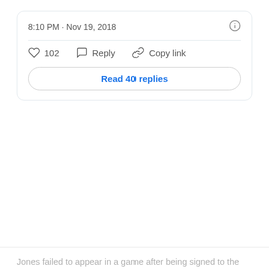8:10 PM · Nov 19, 2018
102  Reply  Copy link
Read 40 replies
Jones failed to appear in a game after being signed to the